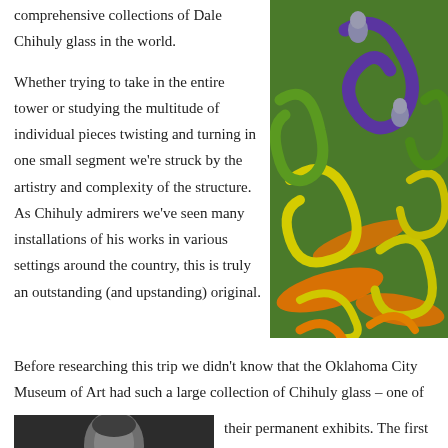comprehensive collections of Dale Chihuly glass in the world.
[Figure (photo): Close-up photograph of colorful Chihuly glass sculpture with yellow, green, orange, and purple twisted glass forms]
Whether trying to take in the entire tower or studying the multitude of individual pieces twisting and turning in one small segment we're struck by the artistry and complexity of the structure. As Chihuly admirers we've seen many installations of his works in various settings around the country, this is truly an outstanding (and upstanding) original.
Before researching this trip we didn't know that the Oklahoma City Museum of Art had such a large collection of Chihuly glass – one of their permanent exhibits. The first time I saw a Chihuly
[Figure (photo): Black and white photograph, partially visible at bottom of page]